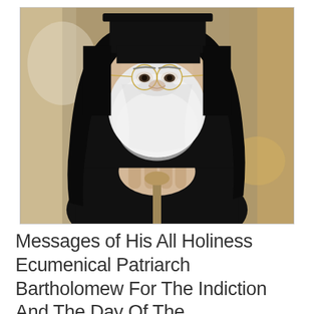[Figure (photo): Portrait photograph of Ecumenical Patriarch Bartholomew wearing black Orthodox vestments and kalimavkion (tall black hat with veil), with a large white beard and glasses, hands clasped over a staff, seated, looking at the camera. Background is blurred warm tones.]
Messages of His All Holiness Ecumenical Patriarch Bartholomew For The Indiction And The Day Of The